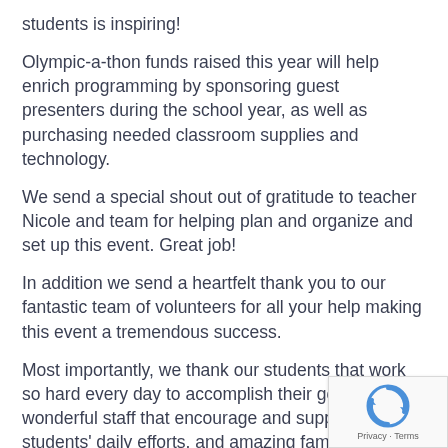students is inspiring!
Olympic-a-thon funds raised this year will help enrich programming by sponsoring guest presenters during the school year, as well as purchasing needed classroom supplies and technology.
We send a special shout out of gratitude to teacher Nicole and team for helping plan and organize and set up this event. Great job!
In addition we send a heartfelt thank you to our fantastic team of volunteers for all your help making this event a tremendous success.
Most importantly, we thank our students that work so hard every day to accomplish their goals, our wonderful staff that encourage and support students' daily efforts, and amazing families that provide all the love, devotion, care, and hope needed to overcome significant challenges with grace and joy!
You are all AMAZING!!!
[Figure (logo): reCAPTCHA badge with Privacy and Terms links]